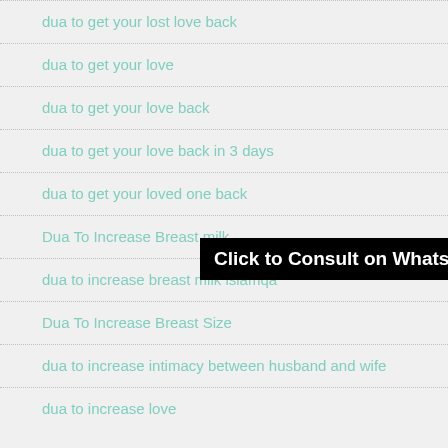dua to get your lost love back
dua to get your love
dua to get your love back
dua to get your love back in 3 days
dua to get your loved one back
Dua To Increase Breast milk
dua to increase breast milk islamqa
Dua To Increase Breast Size
dua to increase intimacy between husband and wife
dua to increase love